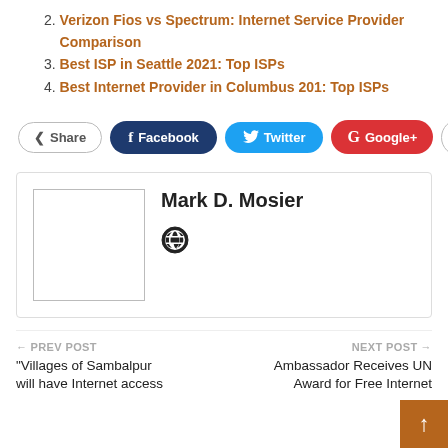2. Verizon Fios vs Spectrum: Internet Service Provider Comparison
3. Best ISP in Seattle 2021: Top ISPs
4. Best Internet Provider in Columbus 201: Top ISPs
[Figure (other): Social share buttons: Share, Facebook, Twitter, Google+, plus button]
Mark D. Mosier
← PREV POST  "Villages of Sambalpur will have Internet access
NEXT POST →  Ambassador Receives UN Award for Free Internet